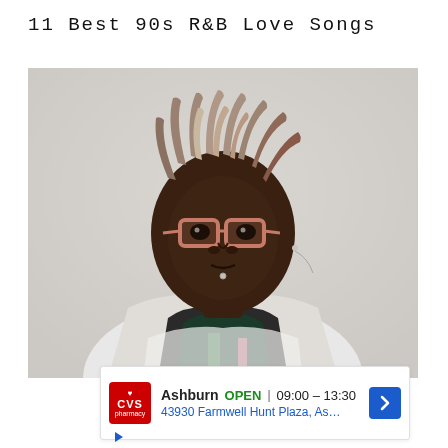11 Best 90s R&B Love Songs
[Figure (photo): Photo of a young Black man with blonde/gray dreadlocks wearing pink-framed glasses and a colorful patterned hoodie, photographed against a light gray background. He has a chin piercing and ear piercing.]
Ashburn OPEN 09:00 – 13:30 43930 Farmwell Hunt Plaza, As…